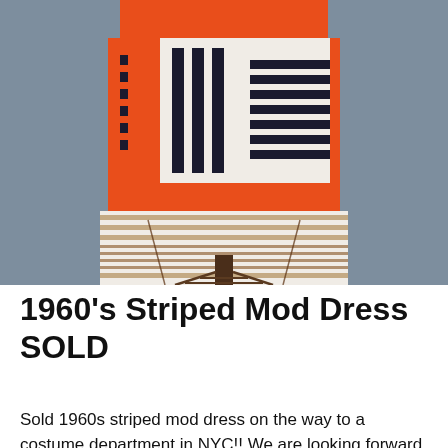[Figure (photo): A 1960s striped mod dress displayed on a wire dress form/mannequin stand against a grey background. The dress features bold orange, navy/dark blue, and white geometric stripe patterns on the upper portion, and horizontal tan/beige and white stripes on the lower skirt portion.]
1960's Striped Mod Dress SOLD
Sold 1960s striped mod dress on the way to a costume department in NYC!! We are looking forward to seeing